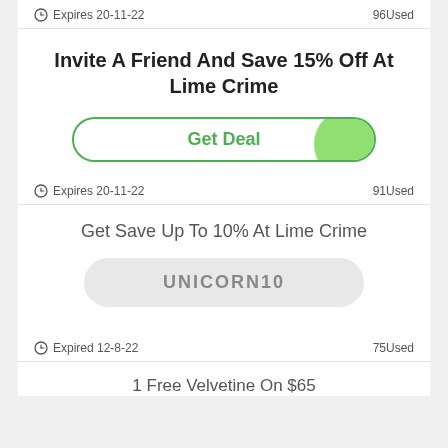Expires 20-11-22   96Used
Invite A Friend And Save 15% Off At Lime Crime
[Figure (other): Get Deal button with green circular blob on right side]
Expires 20-11-22   91Used
Get Save Up To 10% At Lime Crime
UNICORN10
Expired 12-8-22   75Used
1 Free Velvetine On $65